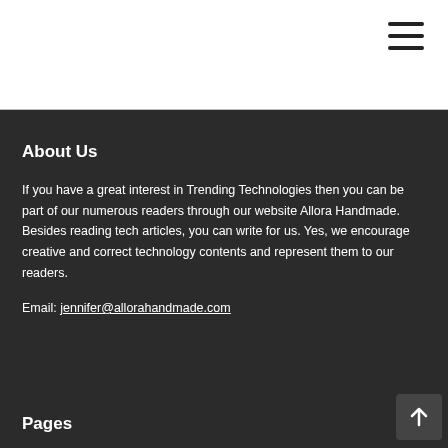About Us
If you have a great interest in Trending Technologies then you can be part of our numerous readers through our website Allora Handmade. Besides reading tech articles, you can write for us. Yes, we encourage creative and correct technology contents and represent them to our readers.
Email: jennifer@allorahandmade.com
Pages